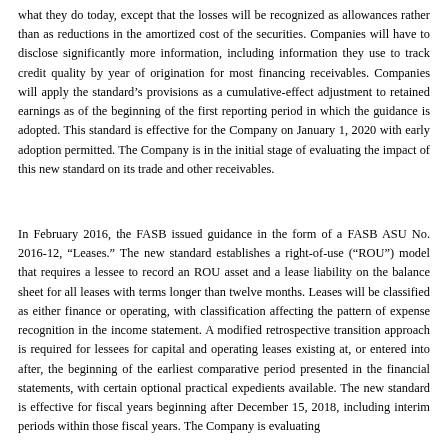what they do today, except that the losses will be recognized as allowances rather than as reductions in the amortized cost of the securities. Companies will have to disclose significantly more information, including information they use to track credit quality by year of origination for most financing receivables. Companies will apply the standard's provisions as a cumulative-effect adjustment to retained earnings as of the beginning of the first reporting period in which the guidance is adopted. This standard is effective for the Company on January 1, 2020 with early adoption permitted. The Company is in the initial stage of evaluating the impact of this new standard on its trade and other receivables.
In February 2016, the FASB issued guidance in the form of a FASB ASU No. 2016-12, "Leases." The new standard establishes a right-of-use ("ROU") model that requires a lessee to record an ROU asset and a lease liability on the balance sheet for all leases with terms longer than twelve months. Leases will be classified as either finance or operating, with classification affecting the pattern of expense recognition in the income statement. A modified retrospective transition approach is required for lessees for capital and operating leases existing at, or entered into after, the beginning of the earliest comparative period presented in the financial statements, with certain optional practical expedients available. The new standard is effective for fiscal years beginning after December 15, 2018, including interim periods within those fiscal years. The Company is evaluating